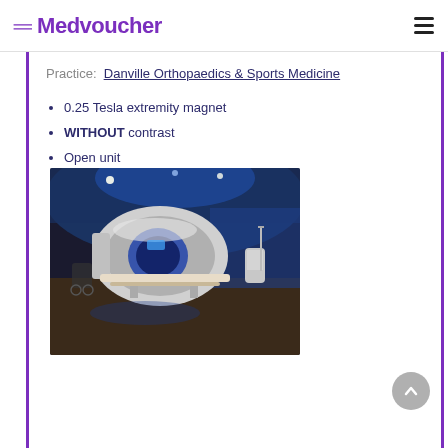Medvoucher
Practice: Danville Orthopaedics & Sports Medicine
0.25 Tesla extremity magnet
WITHOUT contrast
Open unit
[Figure (photo): MRI machine in a room with blue ambient lighting, showing a large white cylindrical MRI scanner with a patient table extended outward]